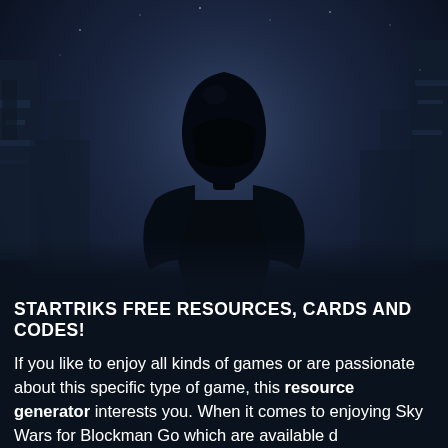[Figure (photo): Dark atmospheric photo of a Darth Vader silhouette figure in a misty, dark blue-grey environment with spaceship structures visible in the background. The figure is centered in the upper portion of the image, facing away from the viewer.]
STARTRIKS FREE RESOURCES, CARDS AND CODES!
If you like to enjoy all kinds of games or are passionate about this specific type of game, this resource generator interests you. When it comes to enjoying Sky Wars for Blockman Go which are available d...